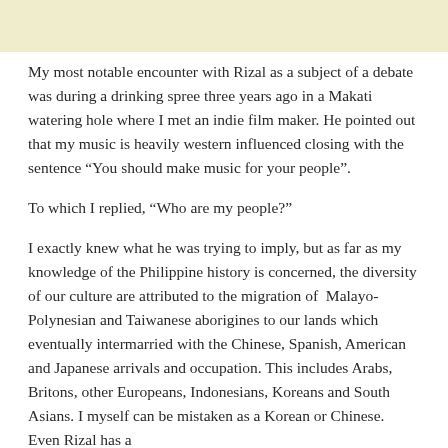[Figure (other): Light yellow/cream colored header bar at the top of the page]
My most notable encounter with Rizal as a subject of a debate was during a drinking spree three years ago in a Makati watering hole where I met an indie film maker. He pointed out that my music is heavily western influenced closing with the sentence “You should make music for your people”.
To which I replied, “Who are my people?”
I exactly knew what he was trying to imply, but as far as my knowledge of the Philippine history is concerned, the diversity of our culture are attributed to the migration of Malayo-Polynesian and Taiwanese aborigines to our lands which eventually intermarried with the Chinese, Spanish, American and Japanese arrivals and occupation. This includes Arabs, Britons, other Europeans, Indonesians, Koreans and South Asians. I myself can be mistaken as a Korean or Chinese. Even Rizal has a